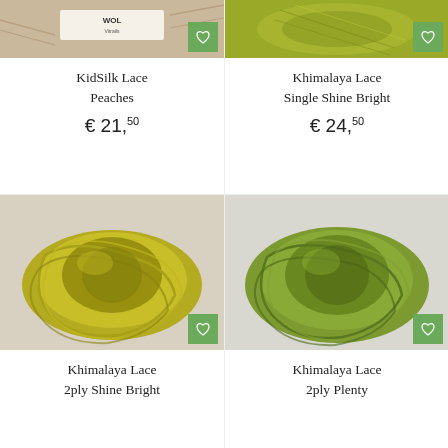[Figure (photo): Partial top image of KidSilk Lace Peaches yarn skein with logo visible, with green heart/wishlist button]
[Figure (photo): Partial top image of Khimalaya Lace Single Shine Bright yarn skein, olive/yellow-green color, with green heart/wishlist button]
KidSilk Lace Peaches
€ 21,50
Khimalaya Lace Single Shine Bright
€ 24,50
[Figure (photo): Khimalaya Lace 2ply Shine Bright yarn skein, mustard/olive yellow-green color, with green heart/wishlist button]
[Figure (photo): Khimalaya Lace 2ply Plenty yarn skein, medium green color, with green heart/wishlist button]
Khimalaya Lace 2ply Shine Bright
Khimalaya Lace 2ply Plenty